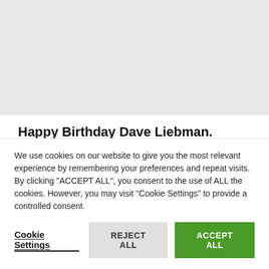[Figure (other): Gray placeholder image area at the top of the page]
Happy Birthday Dave Liebman. ‘Boss Of The Soprano’
This day (September 4, 1946), in Brooklyn, New York, is born Dave Liebman, an American saxophonist and flautist.Digest Tracklist : w/ Adam Rudolph, Hamid Drake... Chi (2019) @ New Morning (2017), w/
We use cookies on our website to give you the most relevant experience by remembering your preferences and repeat visits. By clicking “ACCEPT ALL”, you consent to the use of ALL the cookies. However, you may visit “Cookie Settings” to provide a controlled consent.
Cookie Settings   REJECT ALL   ACCEPT ALL